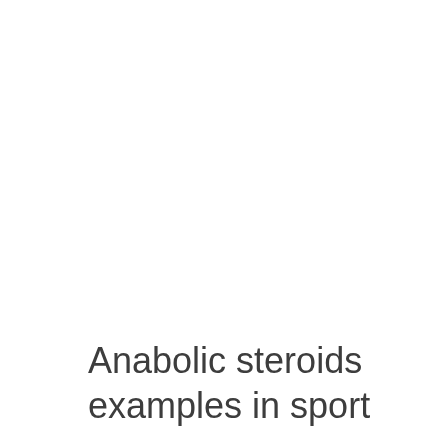Anabolic steroids examples in sport